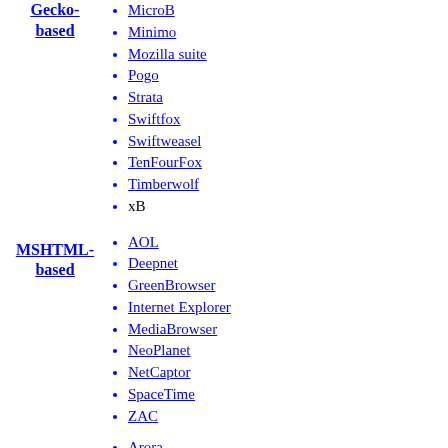Gecko-based
MicroB
Minimo
Mozilla suite
Pogo
Strata
Swiftfox
Swiftweasel
TenFourFox
Timberwolf
xB
MSHTML-based
AOL
Deepnet
GreenBrowser
Internet Explorer
MediaBrowser
NeoPlanet
NetCaptor
SpaceTime
ZAC
Arora
BOLT
Opera Coast
Flock
Fluid